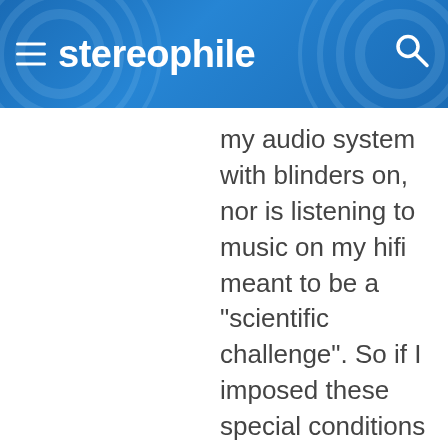stereophile
my audio system with blinders on, nor is listening to music on my hifi meant to be a "scientific challenge". So if I imposed these special conditions upon my listening, it would be unscientific to transfer any conclusions made from them to the casual, sighted